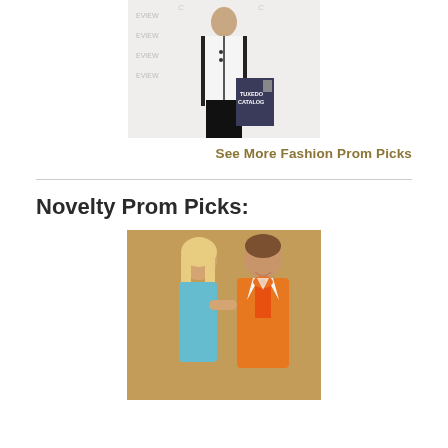[Figure (photo): Man in white tuxedo jacket with black trim standing in front of a backdrop with logos, holding a tuxedo catalog]
See More Fashion Prom Picks
[Figure (photo): Young woman in a light blue sequined dress and young man in an orange tuxedo jacket with orange bow tie and shirt, smiling together outdoors]
Novelty Prom Picks: